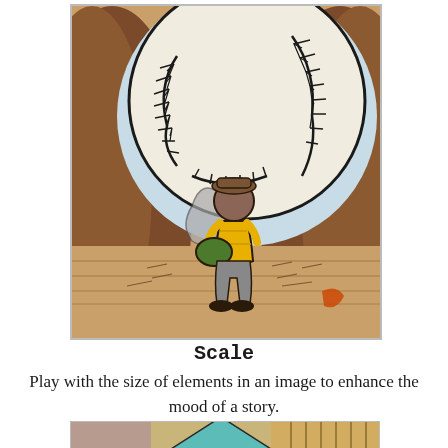[Figure (illustration): A child in a yellow outfit holding a green baseball glove, standing in front of a giant baseball that fills most of the background, surrounded by brown rocky terrain. The image illustrates the concept of scale in illustration/storytelling.]
Scale
Play with the size of elements in an image to enhance the mood of a story.
[Figure (illustration): Partial view of another illustration at the bottom of the page, showing geometric shapes in teal/blue and yellow/tan colors, partially cut off.]